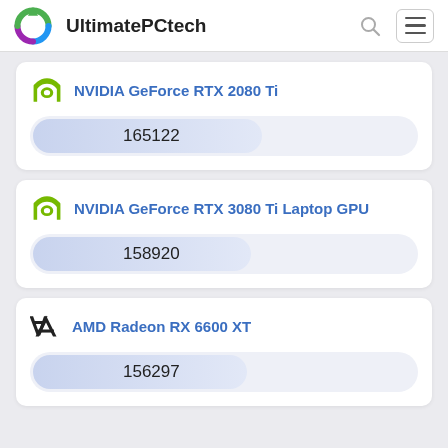UltimatePCtech
NVIDIA GeForce RTX 2080 Ti
NVIDIA GeForce RTX 3080 Ti Laptop GPU
AMD Radeon RX 6600 XT